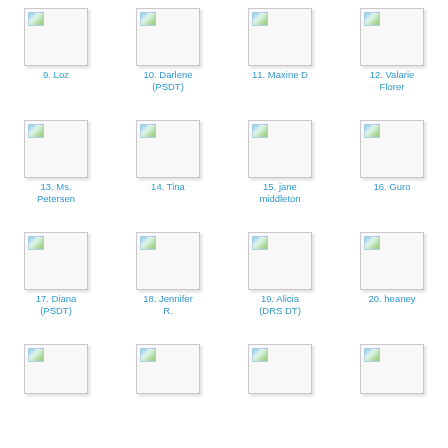[Figure (illustration): Document icon for item 9]
9. Loz
[Figure (illustration): Document icon for item 10]
10. Darlene (PSDT)
[Figure (illustration): Document icon for item 11]
11. Maxine D
[Figure (illustration): Document icon for item 12]
12. Valarie Florer
[Figure (illustration): Document icon for item 13]
13. Ms. Petersen
[Figure (illustration): Document icon for item 14]
14. Tina
[Figure (illustration): Document icon for item 15]
15. jane middleton
[Figure (illustration): Document icon for item 16]
16. Guro
[Figure (illustration): Document icon for item 17]
17. Diana (PSDT)
[Figure (illustration): Document icon for item 18]
18. Jennifer R.
[Figure (illustration): Document icon for item 19]
19. Alicia (DRS DT)
[Figure (illustration): Document icon for item 20]
20. heaney
[Figure (illustration): Document icon for item 21 (partial)]
[Figure (illustration): Document icon for item 22 (partial)]
[Figure (illustration): Document icon for item 23 (partial)]
[Figure (illustration): Document icon for item 24 (partial)]